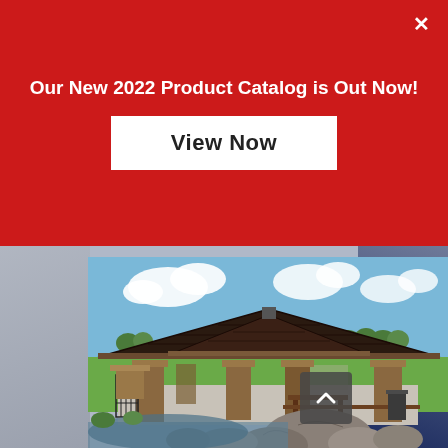Our New 2022 Product Catalog is Out Now!
View Now
[Figure (photo): Outdoor park pavilion with dark metal tiered roof supported by stone columns, picnic tables, rocks and a pond in the foreground, green lawn and trees in background under a partly cloudy sky.]